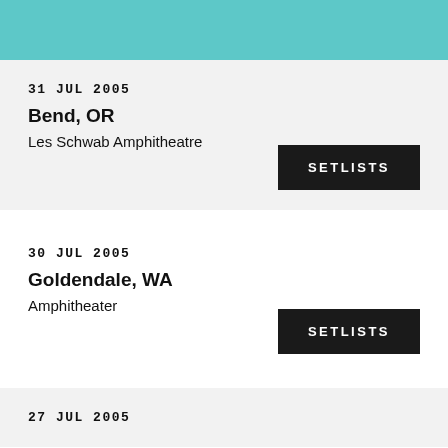31 JUL 2005
Bend, OR
Les Schwab Amphitheatre
SETLISTS
30 JUL 2005
Goldendale, WA
Amphitheater
SETLISTS
27 JUL 2005